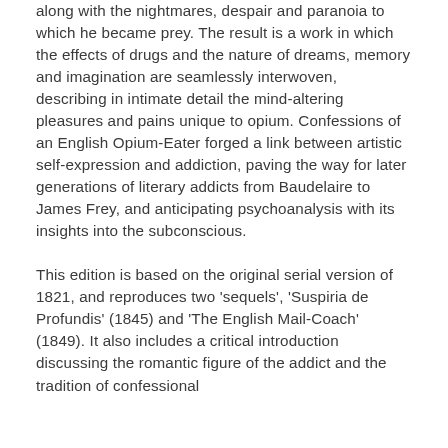along with the nightmares, despair and paranoia to which he became prey. The result is a work in which the effects of drugs and the nature of dreams, memory and imagination are seamlessly interwoven, describing in intimate detail the mind-altering pleasures and pains unique to opium. Confessions of an English Opium-Eater forged a link between artistic self-expression and addiction, paving the way for later generations of literary addicts from Baudelaire to James Frey, and anticipating psychoanalysis with its insights into the subconscious.
This edition is based on the original serial version of 1821, and reproduces two 'sequels', 'Suspiria de Profundis' (1845) and 'The English Mail-Coach' (1849). It also includes a critical introduction discussing the romantic figure of the addict and the tradition of confessional